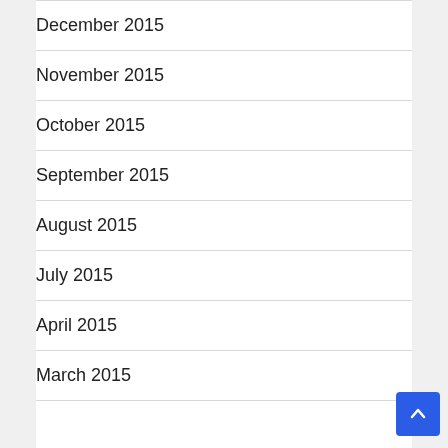December 2015
November 2015
October 2015
September 2015
August 2015
July 2015
April 2015
March 2015